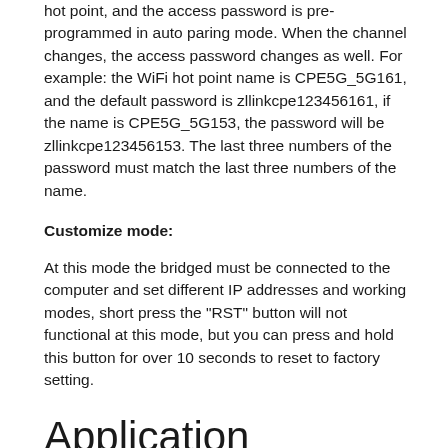hot point, and the access password is pre-programmed in auto paring mode. When the channel changes, the access password changes as well. For example: the WiFi hot point name is CPE5G_5G161, and the default password is zllinkcpe123456161, if the name is CPE5G_5G153, the password will be zllinkcpe123456153. The last three numbers of the password must match the last three numbers of the name.
Customize mode:
At this mode the bridged must be connected to the computer and set different IP addresses and working modes, short press the "RST" button will not functional at this mode, but you can press and hold this button for over 10 seconds to reset to factory setting.
Application